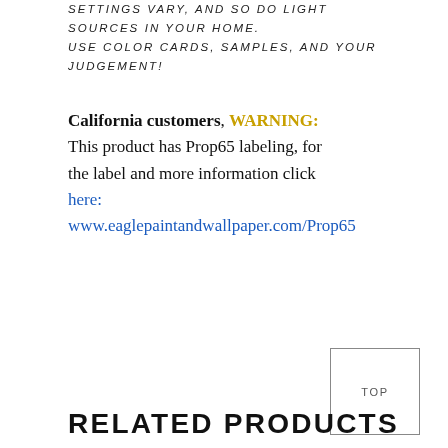SETTINGS VARY, AND SO DO LIGHT SOURCES IN YOUR HOME. USE COLOR CARDS, SAMPLES, AND YOUR JUDGEMENT!
California customers, WARNING: This product has Prop65 labeling, for the label and more information click here: www.eaglepaintandwallpaper.com/Prop65
RELATED PRODUCTS